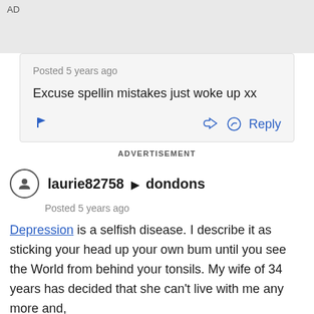AD
Posted 5 years ago
Excuse spellin mistakes just woke up xx
ADVERTISEMENT
laurie82758 ▶ dondons
Posted 5 years ago
Depression is a selfish disease. I describe it as sticking your head up your own bum until you see the World from behind your tonsils. My wife of 34 years has decided that she can't live with me any more and,